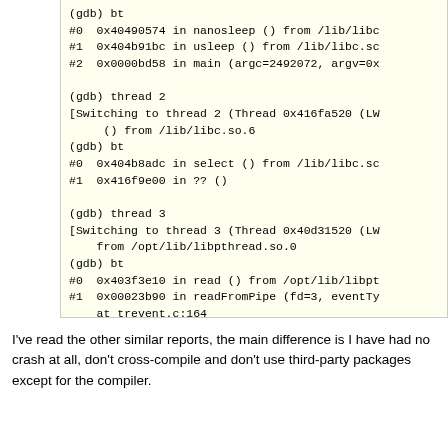(gdb) bt
#0  0x40490574 in nanosleep () from /lib/libc
#1  0x404b91bc in usleep () from /lib/libc.so
#2  0x0000bd58 in main (argc=2492072, argv=0x

(gdb) thread 2
[Switching to thread 2 (Thread 0x416fa520 (LW
     () from /lib/libc.so.6
(gdb) bt
#0  0x404b8adc in select () from /lib/libc.so
#1  0x416f9e00 in ?? ()

(gdb) thread 3
[Switching to thread 3 (Thread 0x40d31520 (LW
    from /opt/lib/libpthread.so.0
(gdb) bt
#0  0x403f3e10 in read () from /opt/lib/libpt
#1  0x00023b90 in readFromPipe (fd=3, eventTy
    at trevent.c:164
#2  0x400254c8 in event_base_loop (base=0x6ab
#3  0x00023dc8 in libeventThreadFunc (veh=0xf
#4  0x00014504 in ThreadFunc (_t=0x69958) at
#5  0x403ee0a8 in start_thread (arg=0xfffffe0
#6  0x404bf7e0 in clone () from /lib/libc.so.
Backtrace stopped: frame did not save the PC
I've read the other similar reports, the main difference is I have had no crash at all, don't cross-compile and don't use third-party packages except for the compiler.